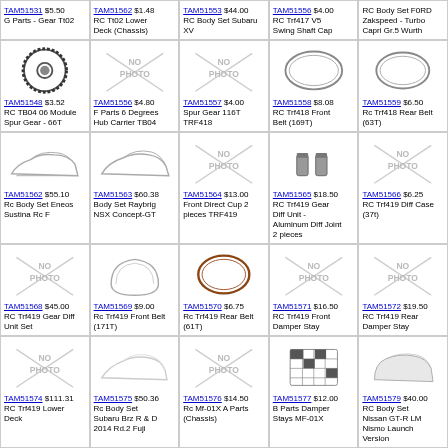TAM51531 $5.50 G Parts - Gear Tt02
TAM51562 $1.48 RC Tt02 Lower Deck (Chassis)
TAM51553 $44.00 RC Body Set Subaru XV
TAM51556 $4.00 RC Trf417 V5 Swing Shaft Cap
RC Body Set F0RD Zakspeed - Turbo Capri Gr.5 Wurth
TAM51548 $3.52 RC TB04 06 Module Spur Gear - 66T
TAM51556 $4.80 F Parts 6 Degrees Hub Carrier TB04
TAM51557 $4.00 Spur Gear 116T TRF418
TAM51558 $8.08 RC Trf418 Front Belt (169T)
TAM51559 $6.50 Rc Trf418 Rear Belt (63T)
TAM51562 $55.10 Rc Body Set Eneos Sustina Rc F
TAM51563 $60.38 Body Set Raybrig NSX Concept-GT
TAM51564 $13.00 Front Direct Cup 2 pieces TRF419
TAM51565 $18.50 RC Trf419 Gear Diff Unit - Aluminum Diff Joint 2 pieces
TAM51566 $6.25 RC Trf419 Diff Case (37t)
TAM51568 $45.00 RC Trf419 Gear Diff Unit Set
TAM51569 $9.00 Rc Trf419 Front Belt (171T)
TAM51570 $6.75 Rc Trf419 Rear Belt (61T)
TAM51571 $16.50 RC Trf419 Front Damper Stay
TAM51572 $19.50 RC Trf419 Rear Damper Stay
TAM51574 $111.31 RC Trf419 Lower Deck
TAM51575 $50.36 Rc Body Set Subaru Brz R & D 2014 Rd.2 Fuji
TAM51576 $14.50 Rc Mf-01X A Parts (Chassis)
TAM51577 $12.00 B Parts Damper Stays MF-01X
TAM51579 $40.00 RC Body Set Nissan GT-R LM Nismo Launch Version